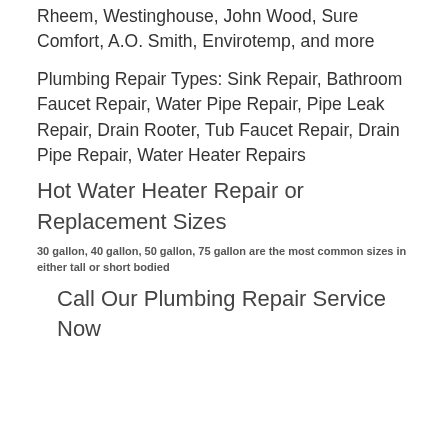Rheem, Westinghouse, John Wood, Sure Comfort, A.O. Smith, Envirotemp, and more
Plumbing Repair Types: Sink Repair, Bathroom Faucet Repair, Water Pipe Repair, Pipe Leak Repair, Drain Rooter, Tub Faucet Repair, Drain Pipe Repair, Water Heater Repairs
Hot Water Heater Repair or Replacement Sizes
30 gallon, 40 gallon, 50 gallon, 75 gallon are the most common sizes in either tall or short bodied
Call Our Plumbing Repair Service Now